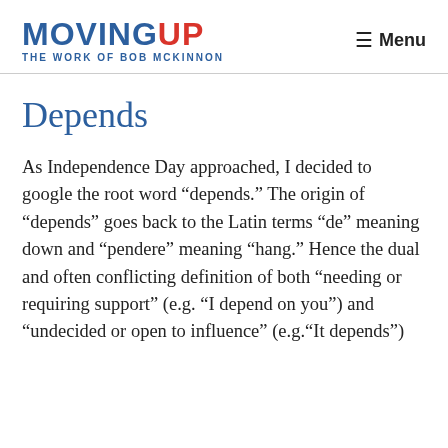MOVINGUP THE WORK OF BOB MCKINNON | Menu
Depends
As Independence Day approached, I decided to google the root word “depends.” The origin of “depends” goes back to the Latin terms “de” meaning down and “pendere” meaning “hang.” Hence the dual and often conflicting definition of both “needing or requiring support” (e.g. “I depend on you”) and “undecided or open to influence” (e.g.“It depends”)